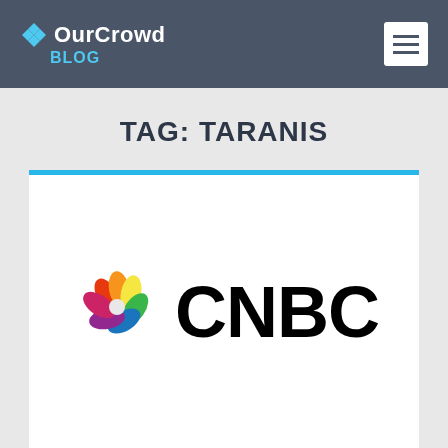OurCrowd BLOG
TAG: TARANIS
[Figure (logo): CNBC logo with colorful peacock feathers icon and bold CNBC text]